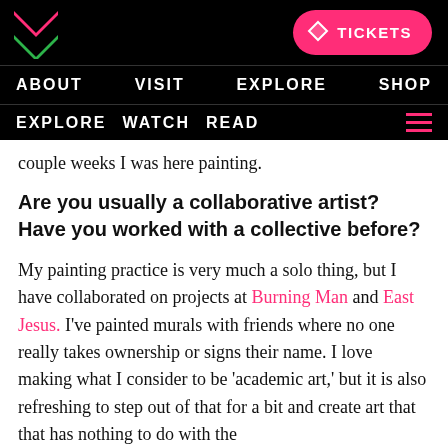ABOUT   VISIT   EXPLORE   SHOP
EXPLORE  WATCH  READ
couple weeks I was here painting.
Are you usually a collaborative artist? Have you worked with a collective before?
My painting practice is very much a solo thing, but I have collaborated on projects at Burning Man and East Jesus. I've painted murals with friends where no one really takes ownership or signs their name. I love making what I consider to be 'academic art,' but it is also refreshing to step out of that for a bit and create art that that has nothing to do with the